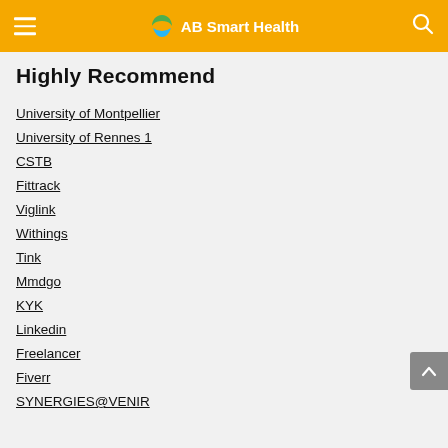AB Smart Health
Highly Recommend
University of Montpellier
University of Rennes 1
CSTB
Fittrack
Viglink
Withings
Tink
Mmdgo
KYK
Linkedin
Freelancer
Fiverr
SYNERGIES@VENIR